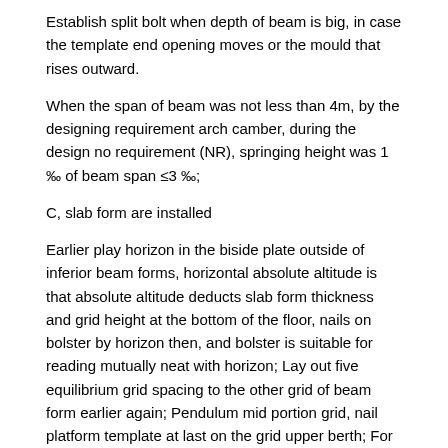Establish split bolt when depth of beam is big, in case the template end opening moves or the mould that rises outward.
When the span of beam was not less than 4m, by the designing requirement arch camber, during the design no requirement (NR), springing height was 1 ‰ of beam span ≤3 ‰;
C, slab form are installed
Earlier play horizon in the biside plate outside of inferior beam forms, horizontal absolute altitude is that absolute altitude deducts slab form thickness and grid height at the bottom of the floor, nails on bolster by horizon then, and bolster is suitable for reading mutually neat with horizon; Lay out five equilibrium grid spacing to the other grid of beam form earlier again; Pendulum mid portion grid, nail platform template at last on the grid upper berth; For ease of form removal, only in the template end or the joint stickfast, middle few nail or do not follow closely is with form removal after convenient.
D, wall form are installed